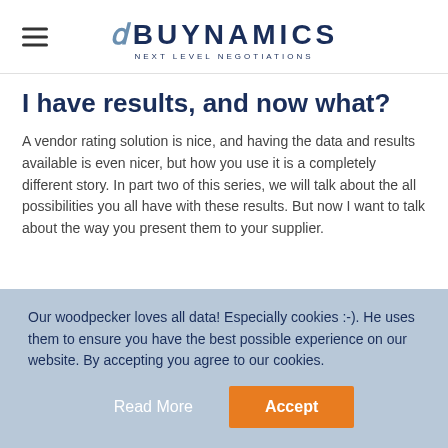BUYNAMICS NEXT LEVEL NEGOTIATIONS
I have results, and now what?
A vendor rating solution is nice, and having the data and results available is even nicer, but how you use it is a completely different story. In part two of this series, we will talk about the all possibilities you all have with these results. But now I want to talk about the way you present them to your supplier.
Our woodpecker loves all data! Especially cookies :-). He uses them to ensure you have the best possible experience on our website. By accepting you agree to our cookies.
Read More  Accept